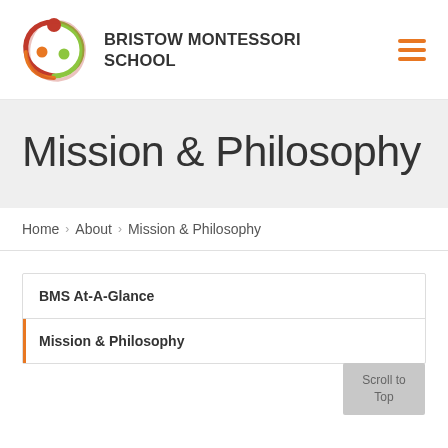BRISTOW MONTESSORI SCHOOL
Mission & Philosophy
Home > About > Mission & Philosophy
BMS At-A-Glance
Mission & Philosophy